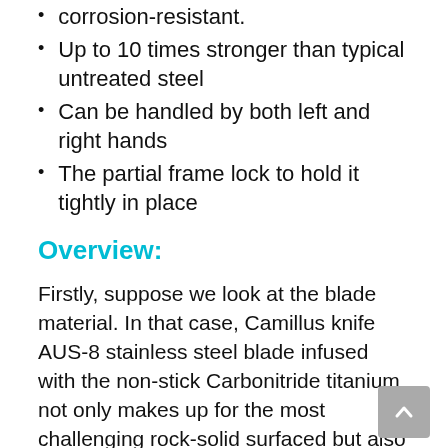corrosion-resistant.
Up to 10 times stronger than typical untreated steel
Can be handled by both left and right hands
The partial frame lock to hold it tightly in place
Overview:
Firstly, suppose we look at the blade material. In that case, Camillus knife AUS-8 stainless steel blade infused with the non-stick Carbonitride titanium not only makes up for the most challenging rock-solid surfaced but also one free from the imperfections and corrosions!